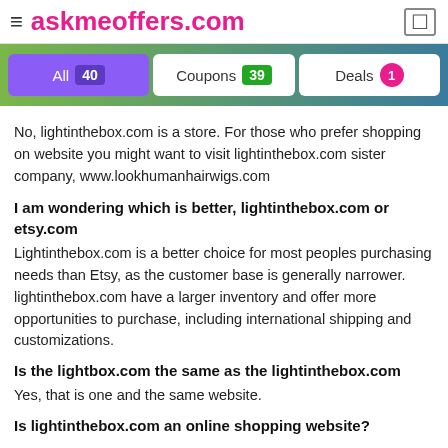≡ askmeoffers.com
[Figure (screenshot): Tab bar with All 40, Coupons 39, Deals 1 buttons]
No, lightinthebox.com is a store. For those who prefer shopping on website you might want to visit lightinthebox.com sister company, www.lookhumanhairwigs.com
I am wondering which is better, lightinthebox.com or etsy.com
Lightinthebox.com is a better choice for most peoples purchasing needs than Etsy, as the customer base is generally narrower. lightinthebox.com have a larger inventory and offer more opportunities to purchase, including international shipping and customizations.
Is the lightbox.com the same as the lightinthebox.com
Yes, that is one and the same website.
Is lightinthebox.com an online shopping website?